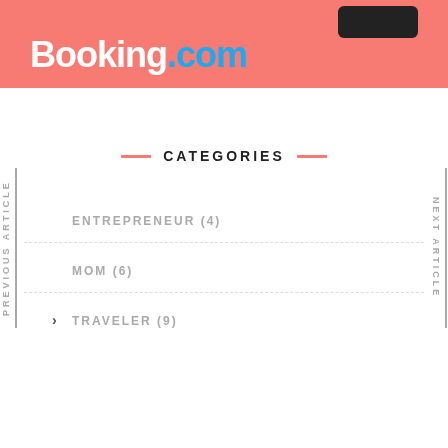[Figure (logo): Booking.com logo on a coral/salmon pink banner background with a dark button in the top right corner]
CATEGORIES
ENTREPRENEUR (4)
MOM (6)
TRAVELER (9)